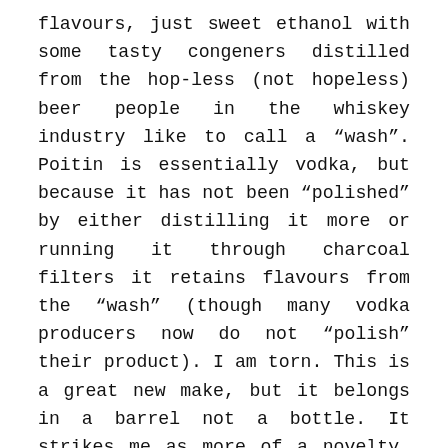flavours, just sweet ethanol with some tasty congeners distilled from the hop-less (not hopeless) beer people in the whiskey industry like to call a "wash". Poitin is essentially vodka, but because it has not been "polished" by either distilling it more or running it through charcoal filters it retains flavours from the "wash" (though many vodka producers now do not "polish" their product). I am torn. This is a great new make, but it belongs in a barrel not a bottle. It strikes me as more of a novelty, that something people used to drink when it was difficult or too costly to source properly matured whiskey. I dislike the taste of new make in mixed drinks or cocktails because of its pungent aroma, though this spirit seems sweet and smooth enough to integrate in some mixed drinks if the new make taste is what you are after. For most people, vodka – Belvedere, even Skyy – might be the more sensible option. Proceed with care, only if you